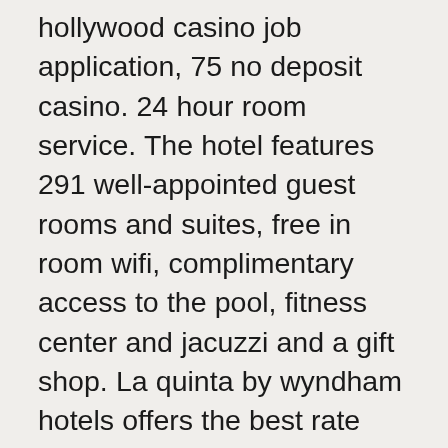hollywood casino job application, 75 no deposit casino. 24 hour room service. The hotel features 291 well-appointed guest rooms and suites, free in room wifi, complimentary access to the pool, fitness center and jacuzzi and a gift shop. La quinta by wyndham hotels offers the best rate guarantee and comfortable rooms. Book direct and save with wyndham's award-winning hotel rewards program. Stay at hyatt place at the hollywood casino / pittsburgh – south, your premiere meadows casino hotel in washington, pa – book online now! This is a review for arts & crafts near 212 racetrack rd, washington, pa 15301: "this is a very nice location in a new shopping mall in washington. July 30: philadelphia, pa – waterfront music pavilion –formerly bb&t. The caesars rewards gift card can be used at nearly 50 caesars rewards resorts and casinos across the united states. You